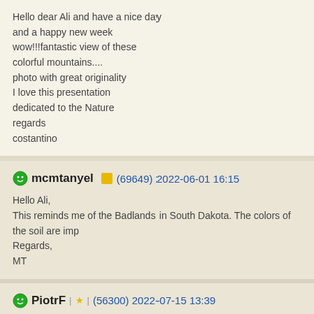Hello dear Ali and have a nice day
and a happy new week
wow!!!fantastic view of these
colorful mountains....
photo with great originality
I love this presentation
dedicated to the Nature
regards
costantino
mcmtanyel (69649) 2022-06-01 16:15
Hello Ali,
This reminds me of the Badlands in South Dakota. The colors of the soil are imp
Regards,
MT
PiotrF (56300) 2022-07-15 13:39
Hello Ali,
Interesting picture from this place, great mountain landscape.
Photo with wonderful colours and good composition.
For me superb!
Regards
Piotr